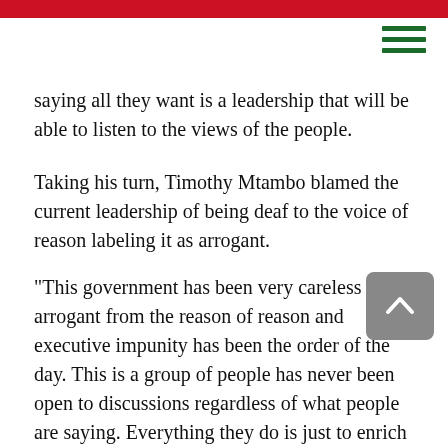saying all they want is a leadership that will be able to listen to the views of the people.
Taking his turn, Timothy Mtambo blamed the current leadership of being deaf to the voice of reason labeling it as arrogant.
“This government has been very careless and arrogant from the reason of reason and executive impunity has been the order of the day. This is a group of people has never been open to discussions regardless of what people are saying. Everything they do is just to enrich them,” he said.
Among other things, the CSOs wanted Mutharika to address issues of 4.2 million theft of diesel at Electricity